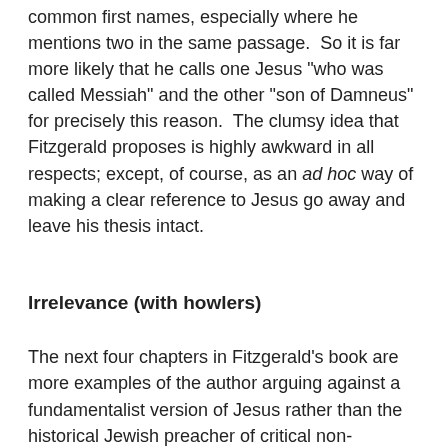common first names, especially where he mentions two in the same passage.  So it is far more likely that he calls one Jesus "who was called Messiah" and the other "son of Damneus" for precisely this reason.  The clumsy idea that Fitzgerald proposes is highly awkward in all respects; except, of course, as an ad hoc way of making a clear reference to Jesus go away and leave his thesis intact.
Irrelevance (with howlers)
The next four chapters in Fitzgerald's book are more examples of the author arguing against a fundamentalist version of Jesus rather than the historical Jewish preacher of critical non-Christian and liberal scholars.  In them he marshals some fairly standard arguments that would be news to absolutely no-one except the most clueless of Biblical literalists or naive traditional Christians.  He presents evidence that the gospels were not written by eye-witnesses, that they differ in their depictions of Jesus and that there are some historical and archaeological problems with taking them at face value.  Yet again, Fitzgerald cannot seem to